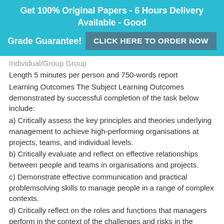Get 100% Original Papers - 6 Hours Delivery Available - Good Grade Guarantee! CLICK HERE TO ORDER NOW
Individual/Group Group
Length 5 minutes per person and 750-words report
Learning Outcomes The Subject Learning Outcomes demonstrated by successful completion of the task below include:
a) Critically assess the key principles and theories underlying management to achieve high-performing organisations at projects, teams, and individual levels.
b) Critically evaluate and reflect on effective relationships between people and teams in organisations and projects.
c) Demonstrate effective communication and practical problemsolving skills to manage people in a range of complex contexts.
d) Critically reflect on the roles and functions that managers perform in the context of the challenges and risks in the changing global environment.
e) Develop and justify contemporary management strategies to address a range of organisational...